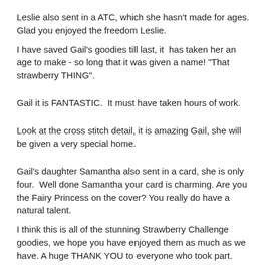Leslie also sent in a ATC, which she hasn't made for ages.  Glad you enjoyed the freedom Leslie.
I have saved Gail's goodies till last, it  has taken her an age to make - so long that it was given a name! "That strawberry THING".
Gail it is FANTASTIC.  It must have taken hours of work.
Look at the cross stitch detail, it is amazing Gail, she will be given a very special home.
Gail's daughter Samantha also sent in a card, she is only four.  Well done Samantha your card is charming. Are you the Fairy Princess on the cover? You really do have a natural talent.
I think this is all of the stunning Strawberry Challenge goodies, we hope you have enjoyed them as much as we have. A huge THANK YOU to everyone who took part.